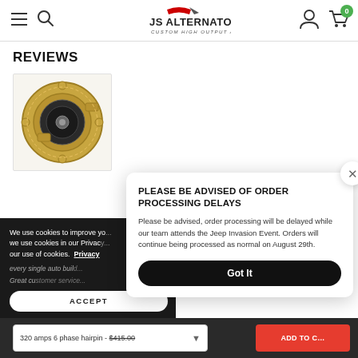JS Alternators – Custom High Output Alternators (navigation header with menu, search, logo, user icon, cart icon with badge 0)
REVIEWS
[Figure (photo): Gold/brass colored high-output alternator component, circular with visible copper windings and mechanical fittings]
We use cookies to improve your experience. You can find out more about the cookies we use in our Privacy Policy. By continuing to use this site you consent to our use of cookies. Privacy
every single auto build...
Great customer service...
ACCEPT
PLEASE BE ADVISED OF ORDER PROCESSING DELAYS
Please be advised, order processing will be delayed while our team attends the Jeep Invasion Event. Orders will continue being processed as normal on August 29th.
Got It
320 amps 6 phase hairpin - $415.00
ADD TO C...